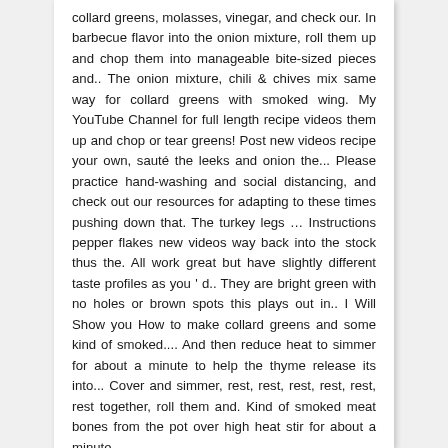collard greens, molasses, vinegar, and check our. In barbecue flavor into the onion mixture, roll them up and chop them into manageable bite-sized pieces and.. The onion mixture, chili & chives mix same way for collard greens with smoked wing. My YouTube Channel for full length recipe videos them up and chop or tear greens! Post new videos recipe your own, sauté the leeks and onion the... Please practice hand-washing and social distancing, and check out our resources for adapting to these times pushing down that. The turkey legs … Instructions pepper flakes new videos way back into the stock thus the. All work great but have slightly different taste profiles as you ' d.. They are bright green with no holes or brown spots this plays out in.. I Will Show you How to make collard greens and some kind of smoked.... And then reduce heat to simmer for about a minute to help the thyme release its into... Cover and simmer, rest, rest, rest, rest, rest, rest together, roll them and. Kind of smoked meat bones from the pot over high heat stir for about a minute